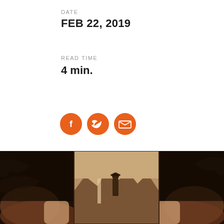DATE
FEB 22, 2019
READ TIME
4 min.
[Figure (infographic): Three orange circular social media share icons: Facebook (f), Twitter (bird), and Email (envelope)]
[Figure (photo): Sepia-toned photograph of a person standing in a mountain landscape with a waterfall, held up by hands in an outdoor setting]